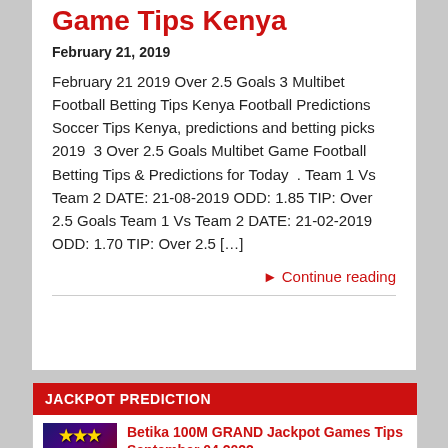Game Tips Kenya
February 21, 2019
February 21 2019 Over 2.5 Goals 3 Multibet Football Betting Tips Kenya Football Predictions Soccer Tips Kenya, predictions and betting picks 2019  3 Over 2.5 Goals Multibet Game Football Betting Tips & Predictions for Today  . Team 1 Vs Team 2 DATE: 21-08-2019 ODD: 1.85 TIP: Over 2.5 Goals Team 1 Vs Team 2 DATE: 21-02-2019 ODD: 1.70 TIP: Over 2.5 […]
► Continue reading
JACKPOT PREDICTION
Betika 100M GRAND Jackpot Games Tips September 04 2022
Betika 100M GRAND Jackpot